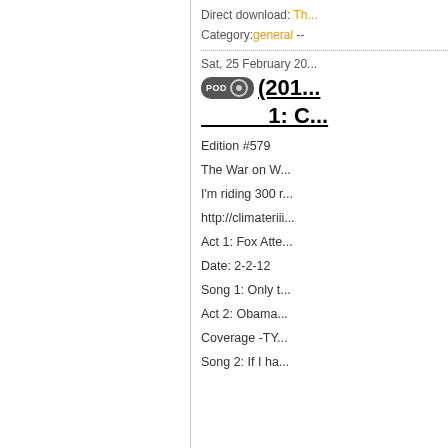Direct download: Th...
Category: general --
Sat, 25 February 20...
(201... 1: C...
Edition #579
The War on W...
I'm riding 300 r...
http://climateriii...
Act 1: Fox Atte...
Date: 2-2-12
Song 1: Only t...
Act 2: Obama...
Coverage -TY...
Song 2: If I ha...